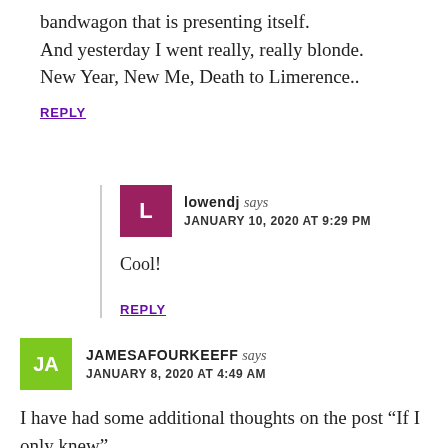bandwagon that is presenting itself.
And yesterday I went really, really blonde.
New Year, New Me, Death to Limerence..
REPLY
lowendj says
JANUARY 10, 2020 AT 9:29PM
Cool!
REPLY
JAMESAFOURKEEFF says
JANUARY 8, 2020 AT 4:49 AM
I have had some additional thoughts on the post “If I only knew”.
Seeking “closure” is one aspect driving limerent